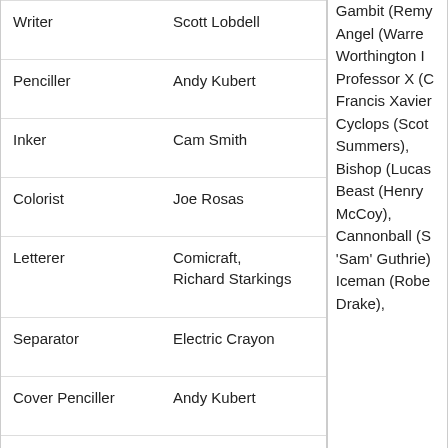| Role | Name |
| --- | --- |
| Writer | Scott Lobdell |
| Penciller | Andy Kubert |
| Inker | Cam Smith |
| Colorist | Joe Rosas |
| Letterer | Comicraft, Richard Starkings |
| Separator | Electric Crayon |
| Cover Penciller | Andy Kubert |
| Cover Inker | Cam Smith |
| Editor | Bob Harras |
Gambit (Remy...), Angel (Warren Worthington III...), Professor X (Charles Francis Xavier...), Cyclops (Scott Summers), Bishop (Lucas...), Beast (Henry McCoy), Cannonball (Samuel 'Sam' Guthrie), Iceman (Robert Drake),